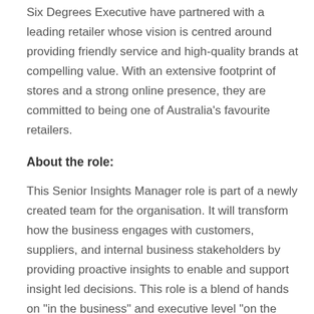Six Degrees Executive have partnered with a leading retailer whose vision is centred around providing friendly service and high-quality brands at compelling value. With an extensive footprint of stores and a strong online presence, they are committed to being one of Australia's favourite retailers.
About the role:
This Senior Insights Manager role is part of a newly created team for the organisation. It will transform how the business engages with customers, suppliers, and internal business stakeholders by providing proactive insights to enable and support insight led decisions. This role is a blend of hands on "in the business" and executive level "on the business" work. You will have 2 direct reports and be